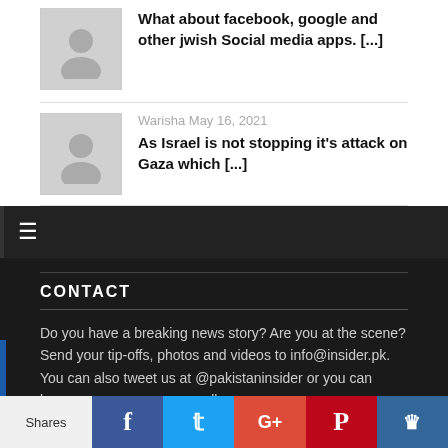What about facebook, google and other jwish Social media apps. [...]
Warisha May 16, 2021
As Israel is not stopping it's attack on Gaza which [...]
CONTACT
Do you have a breaking news story? Are you at the scene? Send your tip-offs, photos and videos to info@insider.pk. You can also tweet us at @pakistaninsider or you can leave a message on our wall – www.facebook.com/insider.pk
Shares | Facebook | Twitter | Google+ | Pinterest | SumoMe